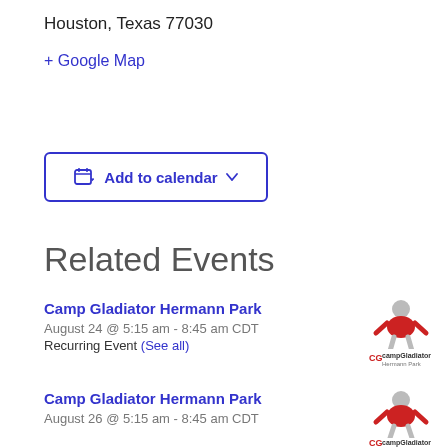Houston, Texas 77030
+ Google Map
Add to calendar
Related Events
Camp Gladiator Hermann Park
August 24 @ 5:15 am - 8:45 am CDT
Recurring Event (See all)
[Figure (logo): Camp Gladiator Hermann Park logo with person in red shirt]
Camp Gladiator Hermann Park
August 26 @ 5:15 am - 8:45 am CDT
[Figure (logo): Camp Gladiator logo with person in red shirt]